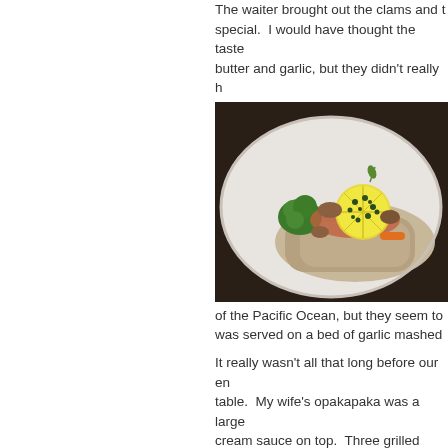The waiter brought out the clams and the special. I would have thought the taste butter and garlic, but they didn't really h
[Figure (photo): A white plate with a fish dish garnished with lemon slices, capers, broccoli, mushrooms, carrots and rice or mashed potatoes]
of the Pacific Ocean, but they seem to was served on a bed of garlic mashed
It really wasn't all that long before our en table. My wife's opakapaka was a large cream sauce on top. Three grilled shrim which was served on some steamed veg opakapaka was "good", but not great. I it was OK.
My mahi mahi piccata was overly disapp